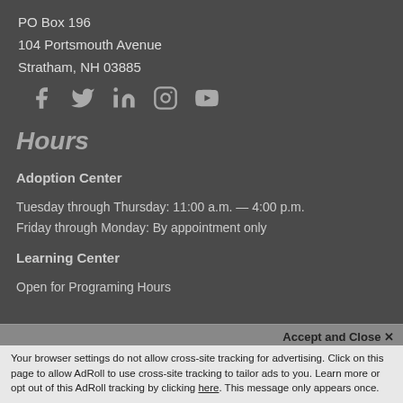PO Box 196
104 Portsmouth Avenue
Stratham, NH 03885
[Figure (illustration): Social media icons: Facebook, Twitter, LinkedIn, Instagram, YouTube]
Hours
Adoption Center
Tuesday through Thursday: 11:00 a.m. — 4:00 p.m.
Friday through Monday: By appointment only
Learning Center
Open for Programing Hours
Accept and Close ✕
Your browser settings do not allow cross-site tracking for advertising. Click on this page to allow AdRoll to use cross-site tracking to tailor ads to you. Learn more or opt out of this AdRoll tracking by clicking here. This message only appears once.